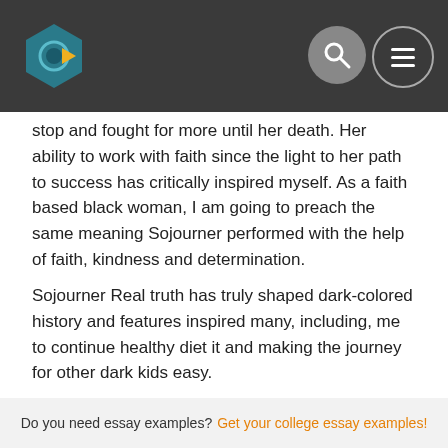[Header bar with logo and navigation icons]
stop and fought for more until her death. Her ability to work with faith since the light to her path to success has critically inspired myself. As a faith based black woman, I am going to preach the same meaning Sojourner performed with the help of faith, kindness and determination.
Sojourner Real truth has truly shaped dark-colored history and features inspired many, including, me to continue healthy diet it and making the journey for other dark kids easy.
Tweet
[Figure (other): Pinterest Pin it button]
< Prev post
Next post >
Do you need essay examples? Get your college essay examples!